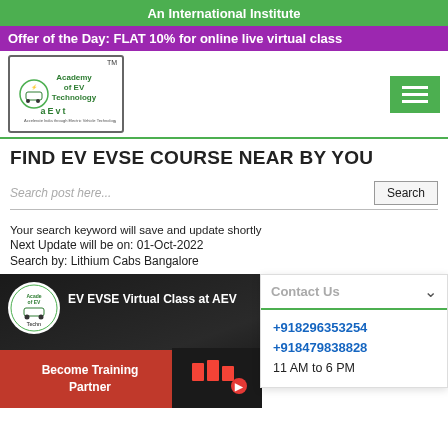An International Institute
Offer of the Day: FLAT 10% for online live virtual class
[Figure (logo): Academy of EV Technology logo with green text and EV car icons]
FIND EV EVSE COURSE NEAR BY YOU
Search post here...
Your search keyword will save and update shortly
Next Update will be on: 01-Oct-2022
Search by: Lithium Cabs Bangalore
[Figure (screenshot): EV EVSE Virtual Class at AEVT video thumbnail with Academy of EV Technology logo and Become Training Partner red button]
Contact Us
+918296353254
+918479838828
11 AM to 6 PM